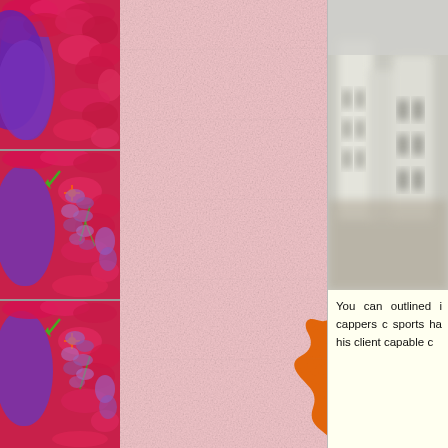[Figure (illustration): Left strip: three vertically stacked panels showing Japanese floral/textile pattern with purple, red, magenta and green botanical motifs. Center: large pink washi paper background with orange and red falling maple leaf (momiji) illustrations scattered across it. Right: light cream/yellow panel with a blurred photograph of what appears to be ceramic or architectural objects, and partial text beginning 'You can outlined i cappers c sports ha his client capable c']
You can outlined i cappers c sports ha his client capable c